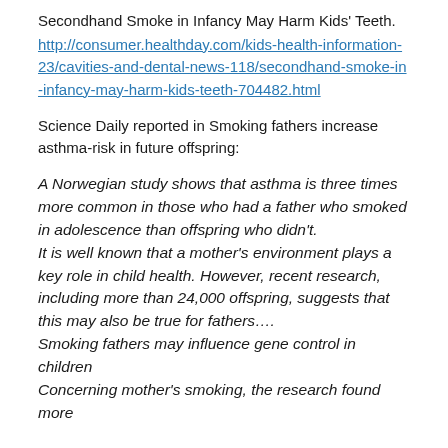Secondhand Smoke in Infancy May Harm Kids' Teeth.
http://consumer.healthday.com/kids-health-information-23/cavities-and-dental-news-118/secondhand-smoke-in-infancy-may-harm-kids-teeth-704482.html
Science Daily reported in Smoking fathers increase asthma-risk in future offspring:
A Norwegian study shows that asthma is three times more common in those who had a father who smoked in adolescence than offspring who didn't.
It is well known that a mother's environment plays a key role in child health. However, recent research, including more than 24,000 offspring, suggests that this may also be true for fathers….
Smoking fathers may influence gene control in children
Concerning mother's smoking, the research found more